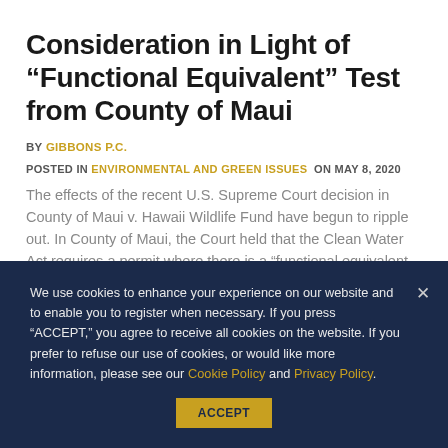Consideration in Light of “Functional Equivalent” Test from County of Maui
BY GIBBONS P.C.
POSTED IN ENVIRONMENTAL AND GREEN ISSUES ON MAY 8, 2020
The effects of the recent U.S. Supreme Court decision in County of Maui v. Hawaii Wildlife Fund have begun to ripple out. In County of Maui, the Court held that the Clean Water Act requires a permit where there is a “functional equivalent of a direct discharge” from a “point source” into “navigable waters.” The Court acknowledged the “difficulty with this approach” in dealing with the “middle instances” and provided a non-exhaustive list of seven factors…
We use cookies to enhance your experience on our website and to enable you to register when necessary. If you press “ACCEPT,” you agree to receive all cookies on the website. If you prefer to refuse our use of cookies, or would like more information, please see our Cookie Policy and Privacy Policy.